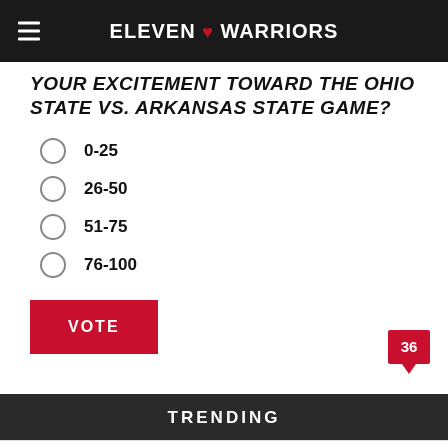ELEVEN ♥ WARRIORS
YOUR EXCITEMENT TOWARD THE OHIO STATE VS. ARKANSAS STATE GAME?
0-25
26-50
51-75
76-100
VOTE
36
TRENDING
Skull Session: TBDBITL Pays Homage To
159